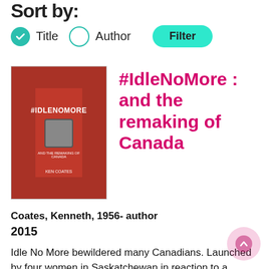Sort by:
Title  Author  Filter
[Figure (illustration): Book cover of #IdleNoMore and the Remaking of Canada by Ken Coates. Red background with large hash symbol, fist image, and bold white text.]
#IdleNoMore : and the remaking of Canada
Coates, Kenneth, 1956- author
2015
Idle No More bewildered many Canadians. Launched by four women in Saskatchewan in reaction to a federal